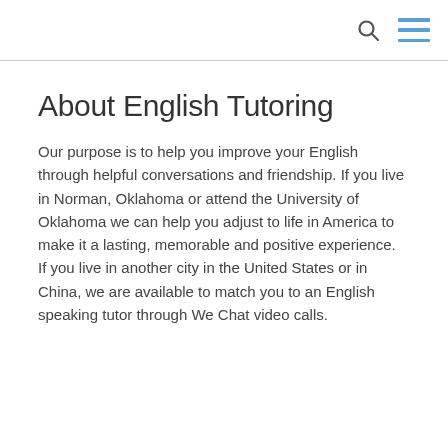About English Tutoring
Our purpose is to help you improve your English through helpful conversations and friendship.  If you live in Norman, Oklahoma or attend the University of Oklahoma we can help you adjust to life in America to make it a lasting, memorable and positive experience.  If you live in another city in the United States or in China, we are available to match you to an English speaking tutor through We Chat video calls.